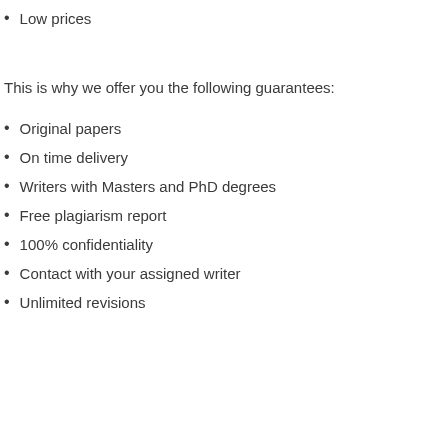Low prices
This is why we offer you the following guarantees:
Original papers
On time delivery
Writers with Masters and PhD degrees
Free plagiarism report
100% confidentiality
Contact with your assigned writer
Unlimited revisions